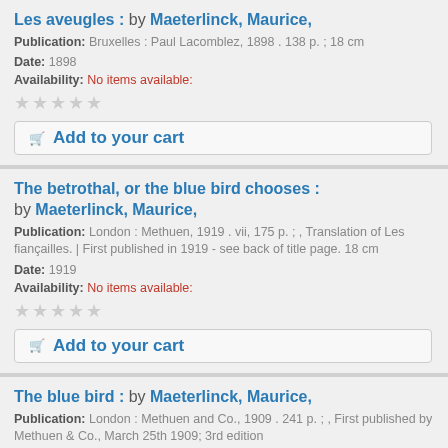Les aveugles : by Maeterlinck, Maurice,
Publication: Bruxelles : Paul Lacomblez, 1898 . 138 p. ; 18 cm
Date: 1898
Availability: No items available:
Add to your cart
The betrothal, or the blue bird chooses : by Maeterlinck, Maurice,
Publication: London : Methuen, 1919 . vii, 175 p. ; , Translation of Les fiançailles. | First published in 1919 - see back of title page. 18 cm
Date: 1919
Availability: No items available:
Add to your cart
The blue bird : by Maeterlinck, Maurice,
Publication: London : Methuen and Co., 1909 . 241 p. ; , First published by Methuen & Co., March 25th 1909; 3rd edition